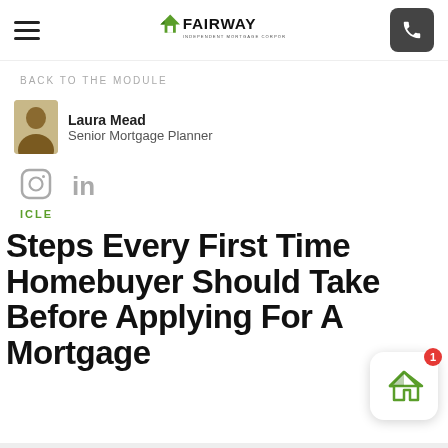FAIRWAY INDEPENDENT MORTGAGE CORPORATION
BACK TO THE MODULE
Laura Mead
Senior Mortgage Planner
[Figure (logo): Instagram and LinkedIn social media icons]
ICLE
Steps Every First Time Homebuyer Should Take Before Applying For A Mortgage